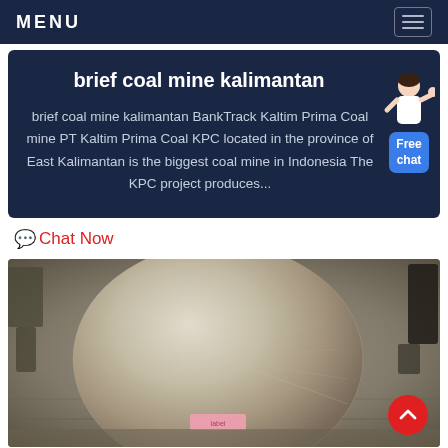MENU
brief coal mine kalimantan
brief coal mine kalimantan BankTrack Kaltim Prima Coal mine PT Kaltim Prima Coal KPC located in the province of East Kalimantan is the biggest coal mine in Indonesia The KPC project produces...
Chat Now
[Figure (photo): Photograph of a circular wrapped or packaged flat object placed on an industrial surface, possibly a mold or disc, with a pink label/tag visible at the bottom. Dark objects visible at right and left edges.]